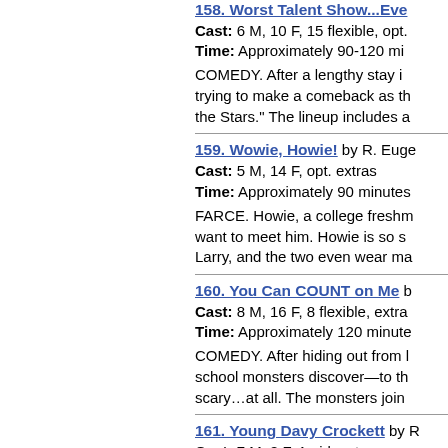158. Worst Talent Show...Ever
Cast: 6 M, 10 F, 15 flexible, opt.
Time: Approximately 90-120 mi...
COMEDY. After a lengthy stay i... trying to make a comeback as th... the Stars. The lineup includes a...
159. Wowie, Howie! by R. Euge...
Cast: 5 M, 14 F, opt. extras
Time: Approximately 90 minutes
FARCE. Howie, a college freshn... want to meet him. Howie is so s... Larry, and the two even wear ma...
160. You Can COUNT on Me b...
Cast: 8 M, 16 F, 8 flexible, extra...
Time: Approximately 120 minute...
COMEDY. After hiding out from l... school monsters discover—to th... scary…at all. The monsters join...
161. Young Davy Crockett by R...
Cast: 7 M, 8 F, 1 girl, extras
Time: Approximately 70-80 minu...
HISTORY/COMEDY. Told with w...